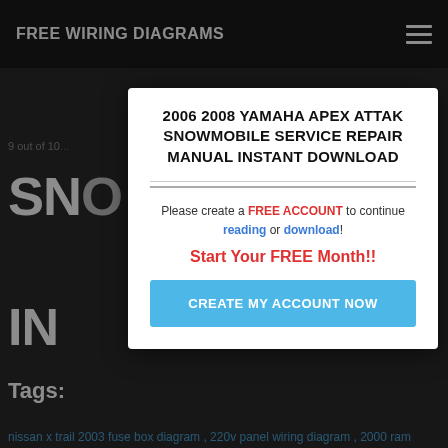FREE WIRING DIAGRAMS
9 out of 10...
SNO... SERVICE
IN... D
[Figure (screenshot): Modal dialog with heading '2006 2008 YAMAHA APEX ATTAK SNOWMOBILE SERVICE REPAIR MANUAL INSTANT DOWNLOAD', call to action to create a free account to continue reading or download, and a 'CREATE MY ACCOUNT NOW' button.]
Tags:
nissan x trail 2003 fuse box diagram , 220v panel wiring diagram , 2000 ram 2500 wiring diagram , tecumseh engine parts diagram download , 2005 jeep tj fuse box location , wiring diagram design